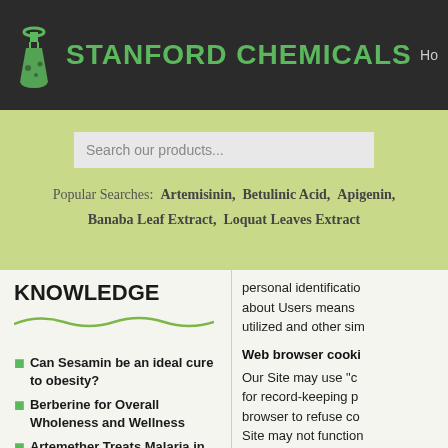[Figure (logo): Stanford Chemicals logo with green flask icon and green bold text on dark background]
Ho
[Figure (screenshot): Search bar with placeholder text 'Search our products...']
Popular Searches: Artemisinin, Betulinic Acid, Apigenin, Banaba Leaf Extract, Loquat Leaves Extract
KNOWLEDGE
Can Sesamin be an ideal cure to obesity?
Berberine for Overall Wholeness and Wellness
Artemether Treats Malaria in Both Adults and Children
personal identification about Users means utilized and other sim
Web browser cooki
Our Site may use "c for record-keeping p browser to refuse co Site may not function